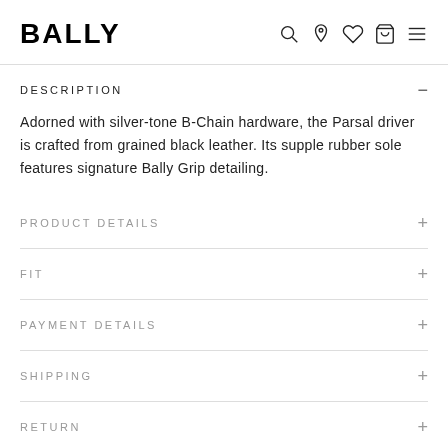BALLY
DESCRIPTION
Adorned with silver-tone B-Chain hardware, the Parsal driver is crafted from grained black leather. Its supple rubber sole features signature Bally Grip detailing.
PRODUCT DETAILS
FIT
PAYMENT DETAILS
SHIPPING
RETURN
SHARE
Get inspired